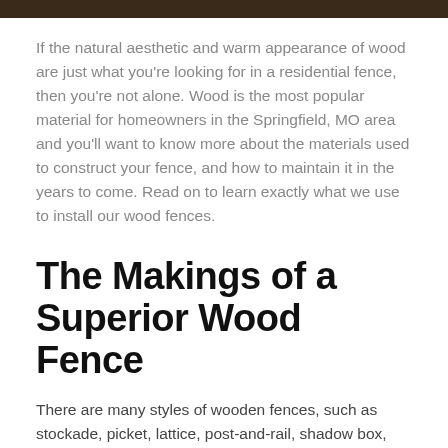[Figure (photo): Dark brown/wood-toned image strip at the top of the page]
If the natural aesthetic and warm appearance of wood are just what you're looking for in a residential fence, then you're not alone. Wood is the most popular material for homeowners in the Springfield, MO area and you'll want to know more about the materials used to construct your fence, and how to maintain it in the years to come. Read on to learn exactly what we use to install our wood fences.
The Makings of a Superior Wood Fence
There are many styles of wooden fences, such as stockade, picket, lattice, post-and-rail, shadow box, scalloped, concave, cap and trim, and straight top. But despite all these style differences, all fences share the same basic components. Understanding how a